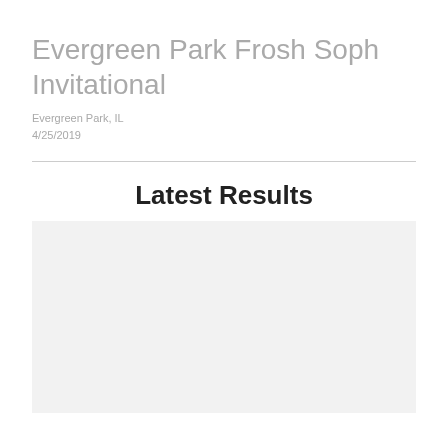Evergreen Park Frosh Soph Invitational
Evergreen Park, IL
4/25/2019
Latest Results